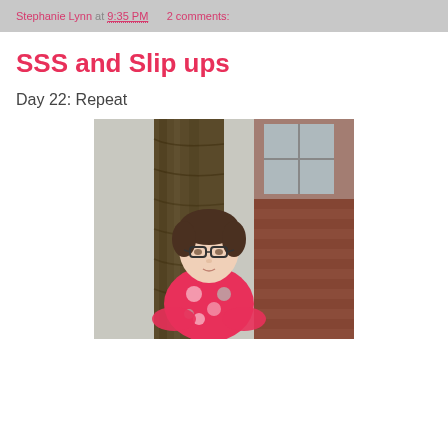Stephanie Lynn at 9:35 PM    2 comments:
SSS and Slip ups
Day 22: Repeat
[Figure (photo): A woman with short dark hair and glasses wearing a bright pink floral top, standing in front of a large tree and brick building outdoors.]